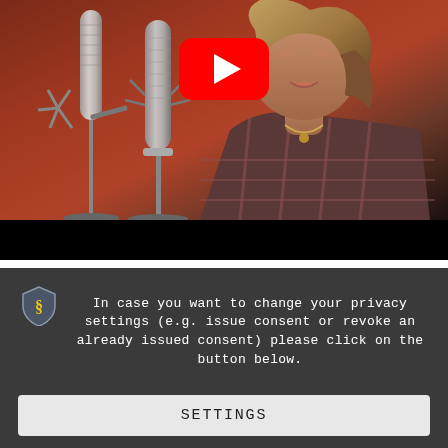[Figure (screenshot): YouTube video thumbnail showing a woman singing into a studio microphone with a plaid shirt, in a warmly lit recording studio. A YouTube play button (red rounded rectangle with white triangle) is centered in the upper portion. Below the photo is a black letterbox bar.]
Todays choice is my discovery for 2014 till now and is the best example of why we need things like Facebook
In case you want to change your privacy settings (e.g. issue consent or revoke an already issued consent) please click on the button below.
SETTINGS